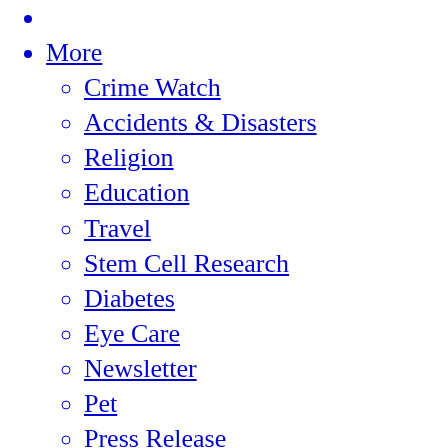More
Crime Watch
Accidents & Disasters
Religion
Education
Travel
Stem Cell Research
Diabetes
Eye Care
Newsletter
Pet
Press Release
Voice
Microblog
Scottish police issue arrest warrant for mother in mystery death of US oil executive’s 3 kids